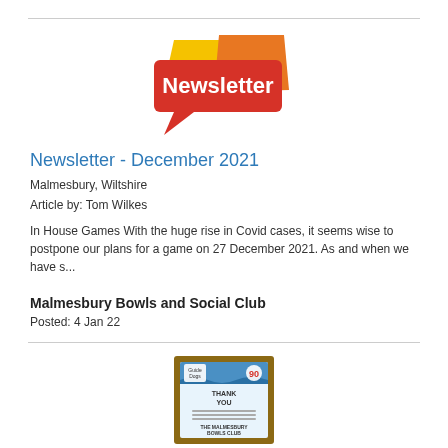[Figure (logo): Newsletter graphic with colorful speech bubble shapes in red, orange, yellow on an overlapping arrangement with white bold text 'Newsletter']
Newsletter - December 2021
Malmesbury, Wiltshire
Article by: Tom Wilkes
In House Games With the huge rise in Covid cases, it seems wise to postpone our plans for a game on 27 December 2021. As and when we have s...
Malmesbury Bowls and Social Club
Posted: 4 Jan 22
[Figure (photo): A framed certificate or plaque from Guide Dogs charity for The Malmesbury Bowls Club, with blue wave design and text 'THANK YOU' visible]